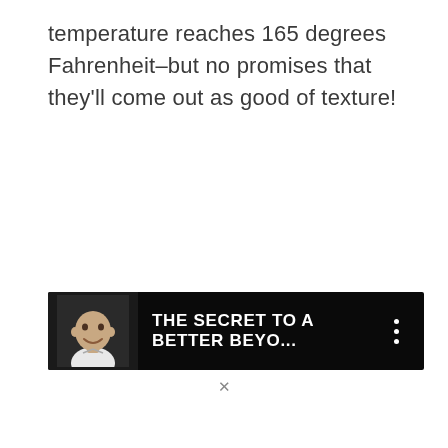temperature reaches 165 degrees Fahrenheit–but no promises that they'll come out as good of texture!
[Figure (screenshot): A video thumbnail bar with dark/black background showing a bald man's photo on the left and the title 'THE SECRET TO A BETTER BEYO...' in white bold text, with a three-dot menu icon on the right.]